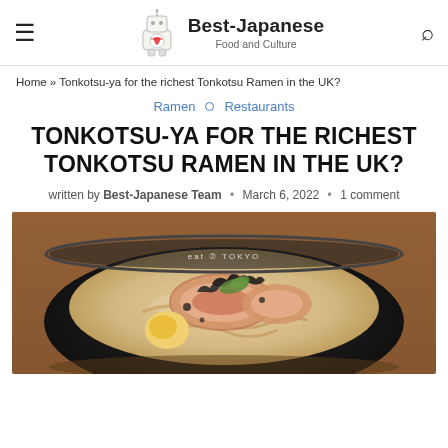Best-Japanese Food and Culture
Home » Tonkotsu-ya for the richest Tonkotsu Ramen in the UK?
Ramen · Restaurants
TONKOTSU-YA FOR THE RICHEST TONKOTSU RAMEN IN THE UK?
written by Best-Japanese Team • March 6, 2022 • 1 comment
[Figure (photo): A bowl of tonkotsu ramen with chashu pork, soft-boiled egg, black garlic oil, green onions, and wood ear mushrooms in a dark bowl. The bowl has 'eat TOKYO' printed on it.]